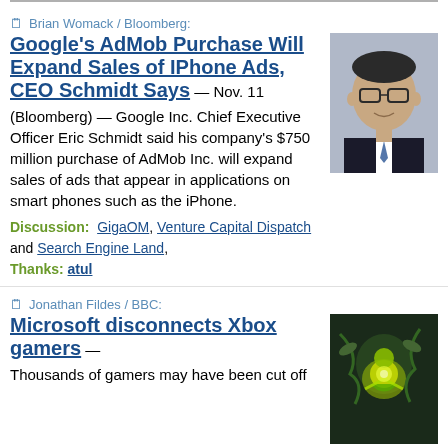Brian Womack / Bloomberg:
Google's AdMob Purchase Will Expand Sales of IPhone Ads, CEO Schmidt Says
— Nov. 11 (Bloomberg) — Google Inc. Chief Executive Officer Eric Schmidt said his company's $750 million purchase of AdMob Inc. will expand sales of ads that appear in applications on smart phones such as the iPhone.
Discussion: GigaOM, Venture Capital Dispatch and Search Engine Land, Thanks: atul
[Figure (photo): Photo of Eric Schmidt, Google CEO, wearing glasses and a suit with blue tie]
Jonathan Fildes / BBC:
Microsoft disconnects Xbox gamers
— Thousands of gamers may have been cut off
[Figure (photo): Gaming illustration with green/yellow glowing figure, possibly Xbox related artwork]